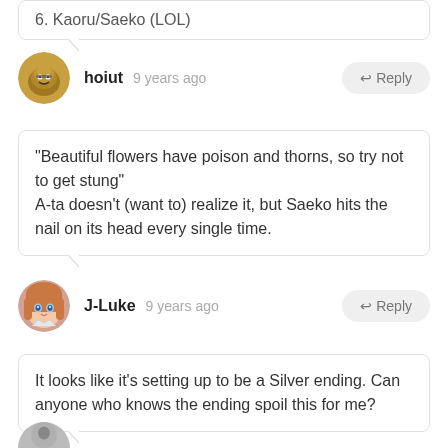6. Kaoru/Saeko (LOL)
hoiut  9 years ago
"Beautiful flowers have poison and thorns, so try not to get stung"
A-ta doesn't (want to) realize it, but Saeko hits the nail on its head every single time.
J-Luke  9 years ago
It looks like it's setting up to be a Silver ending. Can anyone who knows the ending spoil this for me?